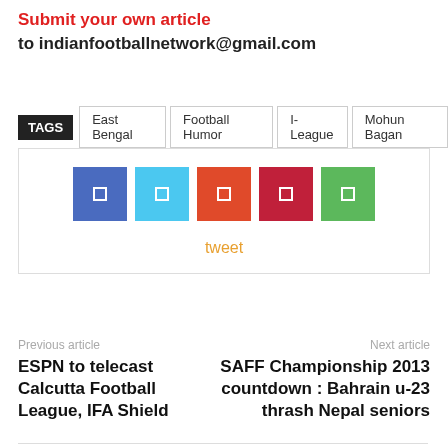Submit your own article
to indianfootballnetwork@gmail.com
TAGS  East Bengal  Football Humor  I-League  Mohun Bagan
[Figure (infographic): Social share buttons (Facebook, Twitter, Google+, Pinterest, WhatsApp) and a tweet link]
Previous article
ESPN to telecast Calcutta Football League, IFA Shield
Next article
SAFF Championship 2013 countdown : Bahrain u-23 thrash Nepal seniors